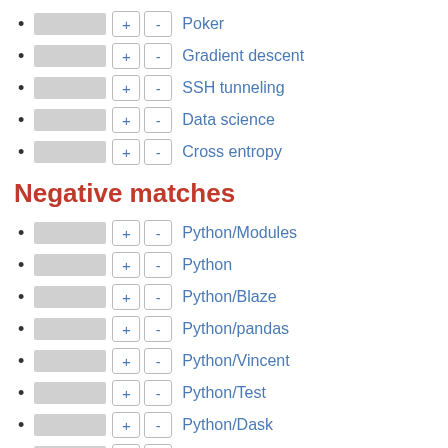Poker
Gradient descent
SSH tunneling
Data science
Cross entropy
Negative matches
Python/Modules
Python
Python/Blaze
Python/pandas
Python/Vincent
Python/Test
Python/Dask
d3py
Python/statsmodels
Python/Bokeh